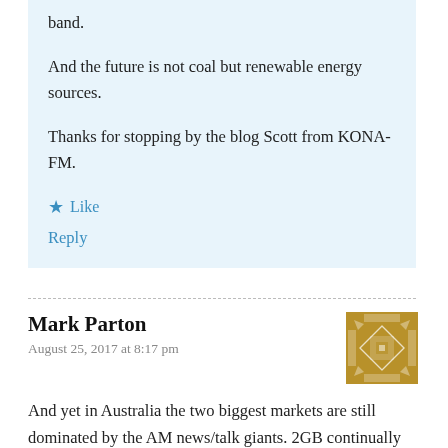band.
And the future is not coal but renewable energy sources.
Thanks for stopping by the blog Scott from KONA-FM.
★ Like
Reply
Mark Parton
August 25, 2017 at 8:17 pm
[Figure (illustration): Golden/tan decorative geometric avatar icon for Mark Parton]
And yet in Australia the two biggest markets are still dominated by the AM news/talk giants. 2GB continually wins Sydney and 3AW continues to win Melbourne. This is more a reflection on the fact that personality driven talk formats are